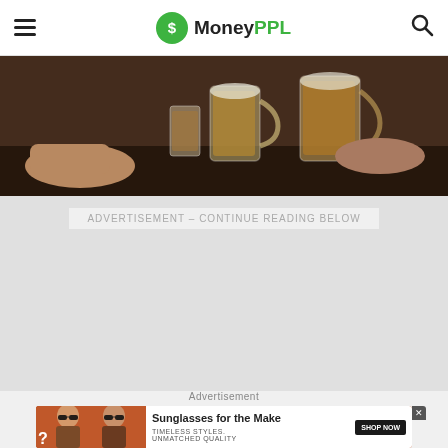MoneyPPL
[Figure (photo): Hands clinking beer glasses / drinks at a bar or table, close-up shot]
ADVERTISEMENT – CONTINUE READING BELOW
Advertisement
[Figure (photo): Advertisement banner: two women wearing sunglasses. Text: 'Sunglasses for the Make'. 'TIMELESS STYLES. UNMATCHED QUALITY'. 'SHOP NOW' button.]